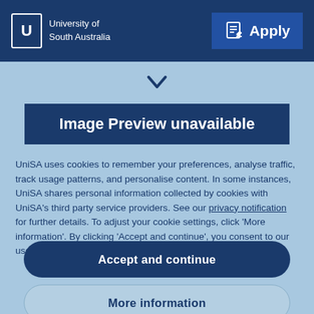University of South Australia — Apply
[Figure (screenshot): Chevron/dropdown arrow icon in light blue navigation bar]
Image Preview unavailable
UniSA uses cookies to remember your preferences, analyse traffic, track usage patterns, and personalise content. In some instances, UniSA shares personal information collected by cookies with UniSA's third party service providers. See our privacy notification for further details. To adjust your cookie settings, click 'More information'. By clicking 'Accept and continue', you consent to our use of cookies.
Accept and continue
More information